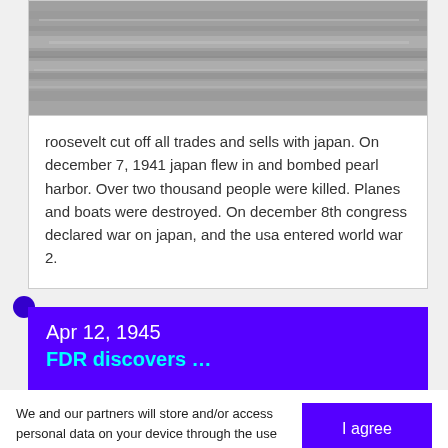[Figure (photo): Black and white aerial photograph, likely of water or wartime scene, partially visible at top of page]
roosevelt cut off all trades and sells with japan. On december 7, 1941 japan flew in and bombed pearl harbor. Over two thousand people were killed. Planes and boats were destroyed. On december 8th congress declared war on japan, and the usa entered world war 2.
Apr 12, 1945
FDR discovers...
We and our partners will store and/or access personal data on your device through the use of cookies and similar technologies, to display personalised ads, for ad and content measurement, audience insights and product development.

By clicking 'I agree,' you consent to this, or you can manage your preferences.